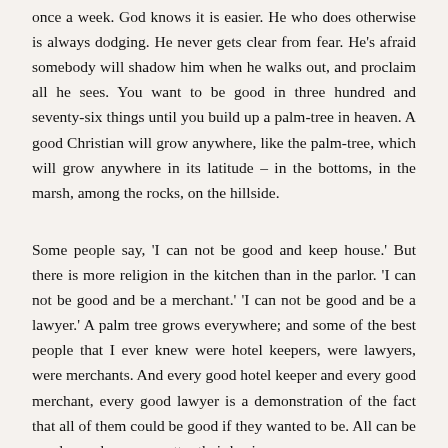once a week. God knows it is easier. He who does otherwise is always dodging. He never gets clear from fear. He's afraid somebody will shadow him when he walks out, and proclaim all he sees. You want to be good in three hundred and seventy-six things until you build up a palm-tree in heaven. A good Christian will grow anywhere, like the palm-tree, which will grow anywhere in its latitude – in the bottoms, in the marsh, among the rocks, on the hillside.
Some people say, 'I can not be good and keep house.' But there is more religion in the kitchen than in the parlor. 'I can not be good and be a merchant.' 'I can not be good and be a lawyer.' A palm tree grows everywhere; and some of the best people that I ever knew were hotel keepers, were lawyers, were merchants. And every good hotel keeper and every good merchant, every good lawyer is a demonstration of the fact that all of them could be good if they wanted to be. All can be good anywhere, no matter their business